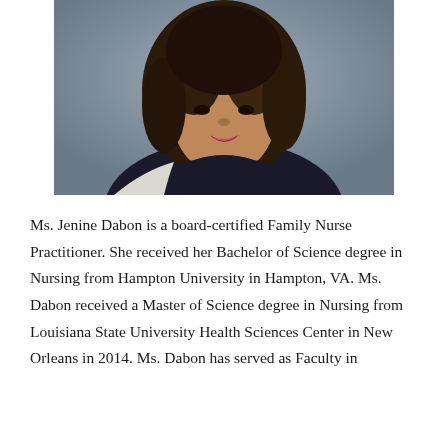[Figure (photo): Professional portrait photo of Ms. Jenine Dabon, a woman with long curly brown hair, wearing a black sleeveless top and a necklace, posed against a gray background.]
Ms. Jenine Dabon is a board-certified Family Nurse Practitioner. She received her Bachelor of Science degree in Nursing from Hampton University in Hampton, VA. Ms. Dabon received a Master of Science degree in Nursing from Louisiana State University Health Sciences Center in New Orleans in 2014. Ms. Dabon has served as Faculty in